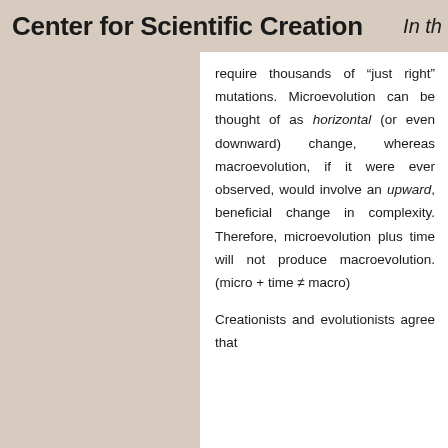Center for Scientific Creation   In th
require thousands of “just right” mutations. Microevolution can be thought of as horizontal (or even downward) change, whereas macroevolution, if it were ever observed, would involve an upward, beneficial change in complexity. Therefore, microevolution plus time will not produce macroevolution. (micro + time ≠ macro)

Creationists and evolutionists agree that